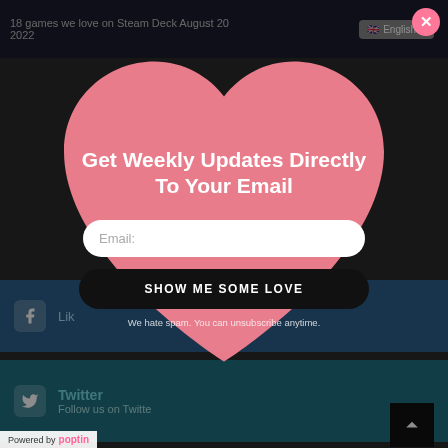18 games we love on Steam Deck August 20 2022
[Figure (screenshot): Website popup overlay with heart-shaped newsletter signup form on dark background with social media sections visible behind]
Get Weekly Updates Directly To Your Email
Email:
SHOW ME SOME LOVE
We hate spam. You can unsubscribe anytime.
Twitter
Follow us on Twitter
Linkdin
Connect us on Linkdin
Powered by poptin